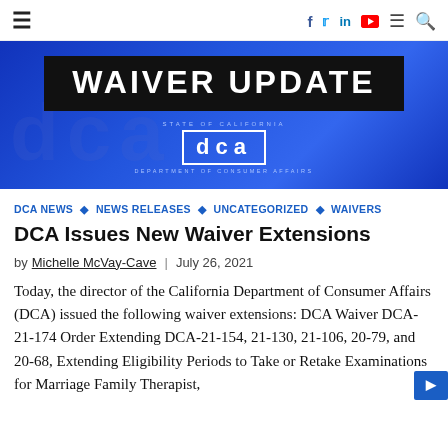≡  f  Twitter  in  YouTube  ≡  🔍
[Figure (illustration): Waiver Update banner image with blue background and DCA (Department of Consumer Affairs) State of California logo. Bold white text reads 'WAIVER UPDATE' on a black rectangle.]
DCA NEWS ◇ NEWS RELEASES ◇ UNCATEGORIZED ◇ WAIVERS
DCA Issues New Waiver Extensions
by Michelle McVay-Cave  |  July 26, 2021
Today, the director of the California Department of Consumer Affairs (DCA) issued the following waiver extensions: DCA Waiver DCA-21-174 Order Extending DCA-21-154, 21-130, 21-106, 20-79, and 20-68, Extending Eligibility Periods to Take or Retake Examinations for Marriage Family Therapist,